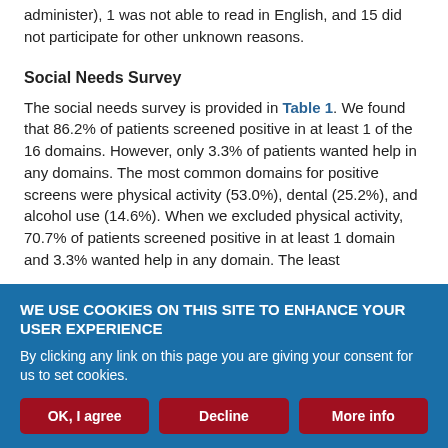administer), 1 was not able to read in English, and 15 did not participate for other unknown reasons.
Social Needs Survey
The social needs survey is provided in Table 1. We found that 86.2% of patients screened positive in at least 1 of the 16 domains. However, only 3.3% of patients wanted help in any domains. The most common domains for positive screens were physical activity (53.0%), dental (25.2%), and alcohol use (14.6%). When we excluded physical activity, 70.7% of patients screened positive in at least 1 domain and 3.3% wanted help in any domain. The least
WE USE COOKIES ON THIS SITE TO ENHANCE YOUR USER EXPERIENCE
By clicking any link on this page you are giving your consent for us to set cookies.
OK, I agree | Decline | More info